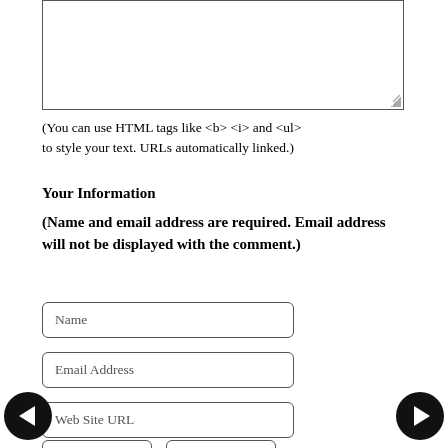[Figure (screenshot): A textarea input box with resize handle in bottom-right corner]
(You can use HTML tags like <b> <i> and <ul> to style your text. URLs automatically linked.)
Your Information
(Name and email address are required. Email address will not be displayed with the comment.)
[Figure (screenshot): Name text input field]
[Figure (screenshot): Email Address text input field]
[Figure (screenshot): Web Site URL text input field]
[Figure (screenshot): Two partial input fields at bottom of page]
[Figure (screenshot): Left navigation arrow button (black circle with white left arrow)]
[Figure (screenshot): Right navigation arrow button (black circle with white right arrow)]